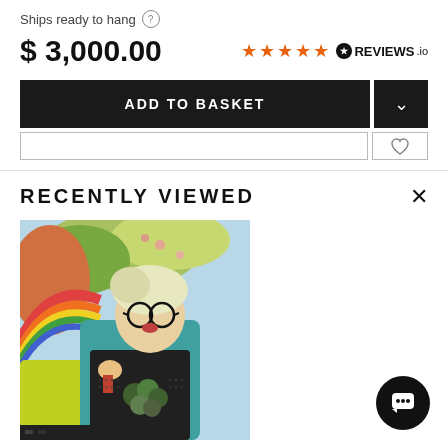Ships ready to hang ?
$ 3,000.00
[Figure (logo): 5 orange stars rating badge with REVIEWS.io logo]
ADD TO BASKET
RECENTLY VIEWED
[Figure (photo): Colorful mixed-media artwork showing a person with glasses amid vivid green, blue and orange abstracted elements]